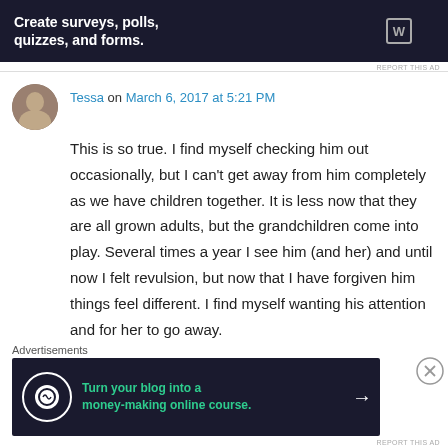[Figure (screenshot): Dark banner advertisement: 'Create surveys, polls, quizzes, and forms.' with WordPress logo]
REPORT THIS AD
Tessa on March 6, 2017 at 5:21 PM
This is so true. I find myself checking him out occasionally, but I can't get away from him completely as we have children together. It is less now that they are all grown adults, but the grandchildren come into play. Several times a year I see him (and her) and until now I felt revulsion, but now that I have forgiven him things feel different. I find myself wanting his attention and for her to go away.
Advertisements
[Figure (screenshot): Dark banner advertisement: 'Turn your blog into a money-making online course.' with arrow button]